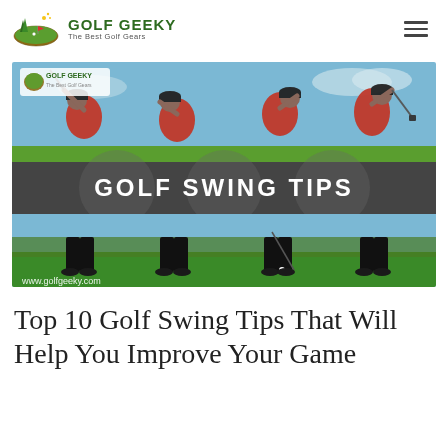GOLF GEEKY | The Best Golf Gears
[Figure (photo): Golf swing tips banner image showing a golfer in red shirt and black pants performing a golf swing sequence in multiple positions. The banner is split into two photo strips with a dark gray center band reading 'GOLF SWING TIPS' in bold white text. The Golf Geeky logo appears in the top-left corner and 'www.golfgeeky.com' watermark appears at the bottom-left.]
Top 10 Golf Swing Tips That Will Help You Improve Your Game